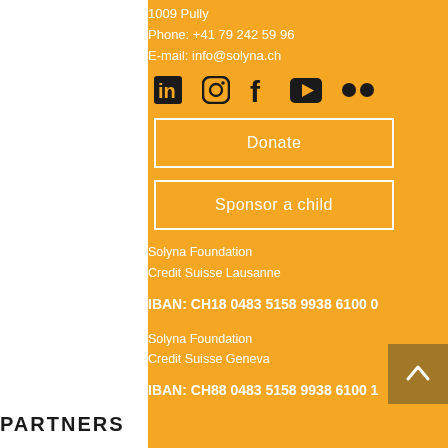1009 Pully
Phone: +41 79 242 59 96
E-mail: info@solyna.ch
[Figure (other): Social media icons: LinkedIn, Instagram, Facebook, YouTube, Flickr]
Donate
Sponsor a child
Solyna Foundation
Credit Suisse Lausanne
IBAN:  CH18 0483 5158 9938 6100 0
Solyna Foundation
Credit Suisse Geneva
IBAN: CH88 0483 5158 9938 6100 1
PARTNERS